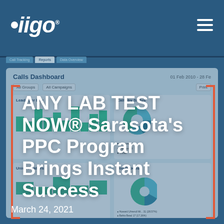Qiigo
[Figure (screenshot): Calls Dashboard analytics interface showing 'Leads per Day' bar chart, 'Calls by Status' pie chart, 'Unique Callers' section, and 'Top Groups' pie chart with date range 01 Feb 2010 - 28 Fe...]
ANY LAB TEST NOW® Sarasota's PPC Program Brings Instant Success
March 24, 2021